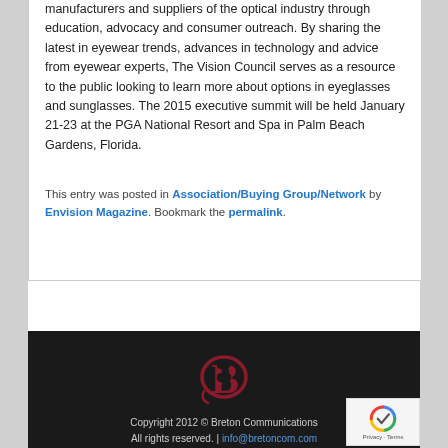manufacturers and suppliers of the optical industry through education, advocacy and consumer outreach. By sharing the latest in eyewear trends, advances in technology and advice from eyewear experts, The Vision Council serves as a resource to the public looking to learn more about options in eyeglasses and sunglasses. The 2015 executive summit will be held January 21-23 at the PGA National Resort and Spa in Palm Beach Gardens, Florida.
This entry was posted in Association/Buying Group/Network by Envision Magazine. Bookmark the permalink.
[Figure (logo): Breton Communications logo — stylized B monogram in dark red/crimson with a swash, on dark background]
Copyright 2012 © Breton Communications All rights reserved. | info@bretoncom.com